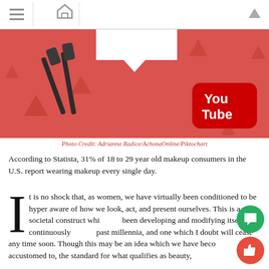[Figure (screenshot): Website navigation bar with hamburger menu, home icon, and up arrow]
[Figure (illustration): Red hero banner with mascara brushes, triangular decorations, white notch at top, and YouTube logo in bottom right corner]
Photo Credit: Adrianna Radice/AchonaOnline/Piktochart
According to Statista, 31% of 18 to 29 year old makeup consumers in the U.S. report wearing makeup every single day.
It is no shock that, as women, we have virtually been conditioned to be hyper aware of how we look, act, and present ourselves. This is a societal construct which has been developing and modifying itself continuously for the past millennia, and one which I doubt will cease any time soon. Though this may be an idea which we have become accustomed to, the standard for what qualifies as beauty, however, will definitely be ever-changing as technology and